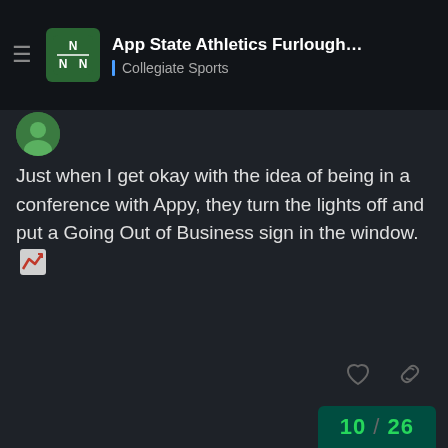App State Athletics Furloughs entire dep... | Collegiate Sports
Just when I get okay with the idea of being in a conference with Appy, they turn the lights off and put a Going Out of Business sign in the window.
Gassman
Patron
Jun '20
I'm worried that we are even going to have a season. I'm not feeling confident.
10 / 26